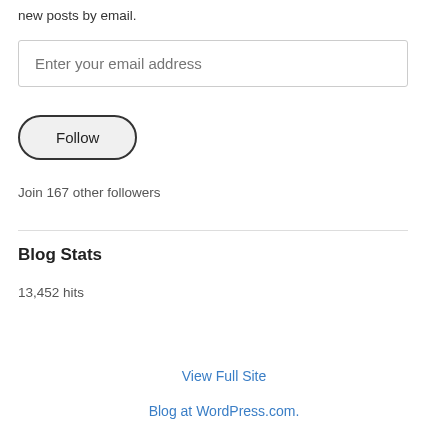new posts by email.
Enter your email address
Follow
Join 167 other followers
Blog Stats
13,452 hits
View Full Site
Blog at WordPress.com.